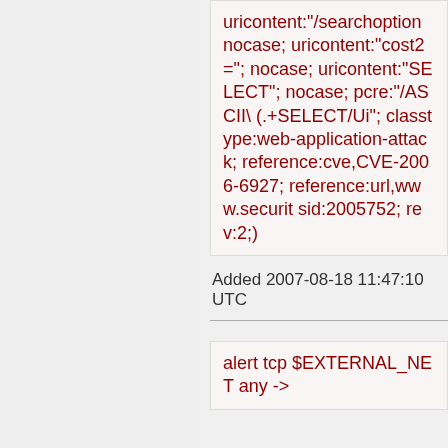uricontent:"/searchoption nocase; uricontent:"cost2="; nocase; uricontent:"SELECT"; nocase; pcre:"/ASCII\(.+SELECT/Ui"; classtype:web-application-attack; reference:cve,CVE-2006-6927; reference:url,www.securit sid:2005752; rev:2;)
Added 2007-08-18 11:47:10 UTC
alert tcp $EXTERNAL_NET any ->